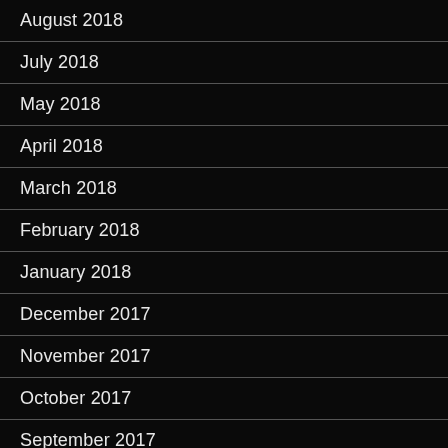August 2018
July 2018
May 2018
April 2018
March 2018
February 2018
January 2018
December 2017
November 2017
October 2017
September 2017
August 2017
July 2017